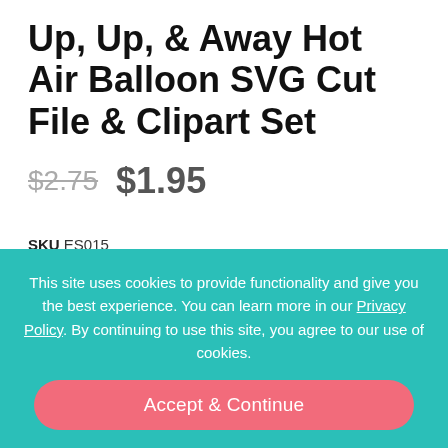Up, Up, & Away Hot Air Balloon SVG Cut File & Clipart Set
$2.75  $1.95
SKU ES015
Categories Embellishment Sets, Theme Sets
Add to Wish List
This site uses cookies to provide functionality and give you the best experience. You can learn more in our Privacy Policy. By continuing to use this site, you agree to our use of cookies.
Accept & Continue